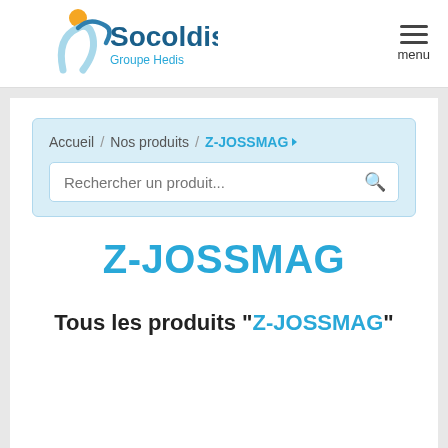[Figure (logo): Socoldis Groupe Hedis logo with stylized figure and teal wordmark]
menu
Accueil / Nos produits / Z-JOSSMAG
Rechercher un produit...
Z-JOSSMAG
Tous les produits "Z-JOSSMAG"